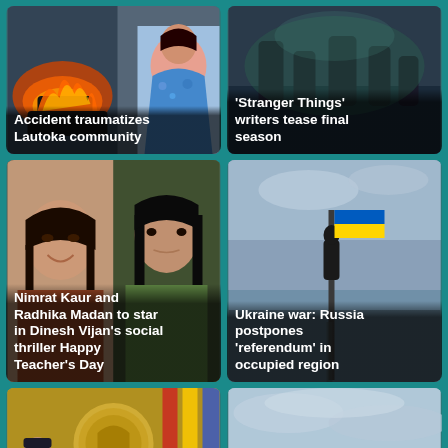[Figure (photo): News card: burning car scene with a woman in blue floral dress]
Accident traumatizes Lautoka community
[Figure (photo): News card: Stranger Things cast scene, dark moody background]
'Stranger Things' writers tease final season
[Figure (photo): News card: Nimrat Kaur smiling on left, Radhika Madan in green on right]
Nimrat Kaur and Radhika Madan to star in Dinesh Vijan's social thriller Happy Teacher's Day
[Figure (photo): News card: silhouette of person holding Ukrainian flag on a pole by the sea]
Ukraine war: Russia postpones 'referendum' in occupied region
[Figure (photo): News card: RCMP crest with officer and two male suspects inset, flags in background]
Saskatchewan stabbings: Suspects
[Figure (photo): News card: small boat with refugees stranded on open sea, grey sky]
Dozens of Lebanese and Syrian refugees stranded for days at